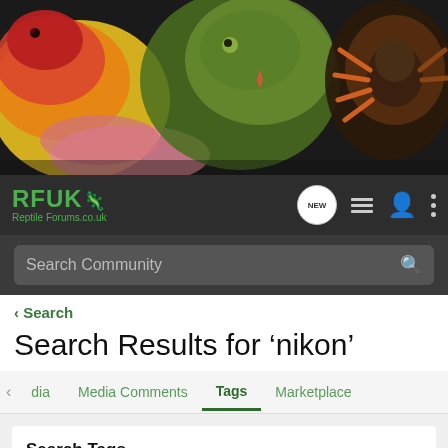[Figure (photo): Banner image showing reptiles: a yellow/orange/red corn snake on the left, a green gecko in the center, and a tarantula spider on the right against a dark background.]
[Figure (logo): RFUK Reptile Forums logo in green text with a gecko/lizard icon, on dark background navigation bar with NEW bubble, list icon, user icon, and three-dots menu icon.]
Search Community
< Search
Search Results for ‘nikon’
< dia   Media Comments   Tags   Marketplace
Search Tags
× nikon